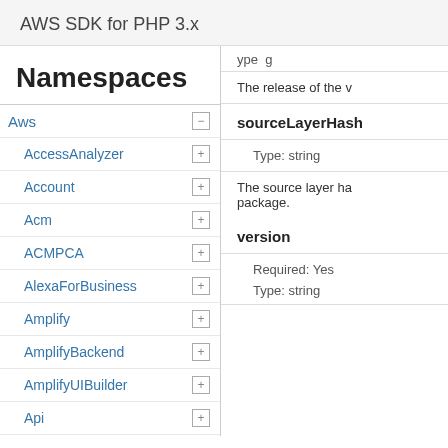AWS SDK for PHP 3.x
Namespaces
Aws
AccessAnalyzer
Account
Acm
ACMPCA
AlexaForBusiness
Amplify
AmplifyBackend
AmplifyUIBuilder
Api
ApiGateway
ApiGatewayManagementApi
The release of the v
sourceLayerHash
Type: string
The source layer ha package.
version
Required: Yes
Type: string